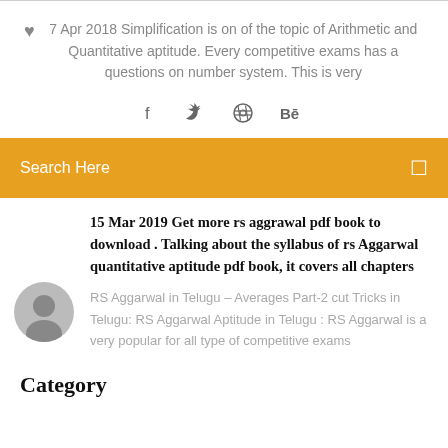7 Apr 2018 Simplification is on of the topic of Arithmetic and Quantitative aptitude. Every competitive exams has a questions on number system. This is very
[Figure (infographic): Social share icons: Facebook (f), Twitter bird, Dribbble, Behance (Be)]
Search Here
15 Mar 2019 Get more rs aggrawal pdf book to download . Talking about the syllabus of rs Aggarwal quantitative aptitude pdf book, it covers all chapters
RS Aggarwal in Telugu – Averages Part-2 cut Tricks in Telugu: RS Aggarwal Aptitude in Telugu : RS Aggarwal is a very popular for all type of competitive exams
Category